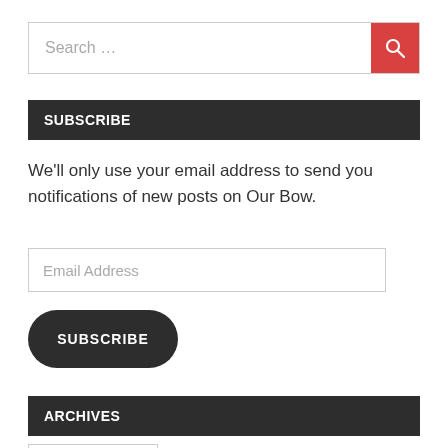[Figure (screenshot): Search input bar with red search button containing a magnifying glass icon]
SUBSCRIBE
We'll only use your email address to send you notifications of new posts on Our Bow.
[Figure (screenshot): Email Address input field]
[Figure (screenshot): Dark rounded SUBSCRIBE button]
ARCHIVES
[Figure (screenshot): Select Month dropdown (partially visible)]